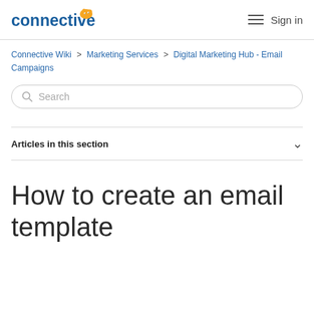connective [logo] | Sign in
Connective Wiki > Marketing Services > Digital Marketing Hub - Email Campaigns
Search
Articles in this section
How to create an email template